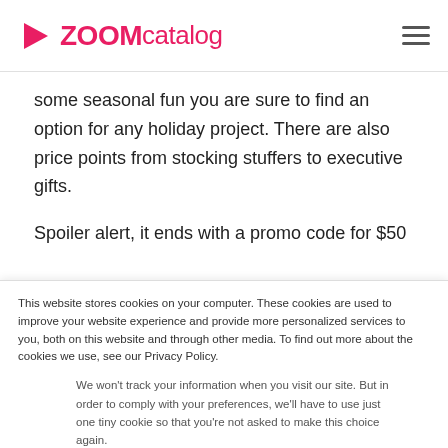ZOOM catalog
some seasonal fun you are sure to find an option for any holiday project. There are also price points from stocking stuffers to executive gifts.
Spoiler alert, it ends with a promo code for $50
This website stores cookies on your computer. These cookies are used to improve your website experience and provide more personalized services to you, both on this website and through other media. To find out more about the cookies we use, see our Privacy Policy.
We won't track your information when you visit our site. But in order to comply with your preferences, we'll have to use just one tiny cookie so that you're not asked to make this choice again.